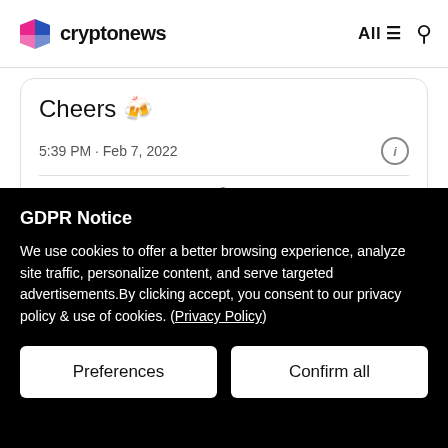cryptonews  All  ☰  🔍
Cheers 🍻
5:39 PM · Feb 7, 2022
♡ 108   💬 Reply   🔗 Copy link
Read 7 replies
GDPR Notice
We use cookies to offer a better browsing experience, analyze site traffic, personalize content, and serve targeted advertisements.By clicking accept, you consent to our privacy policy & use of cookies. (Privacy Policy)
Preferences
Confirm all